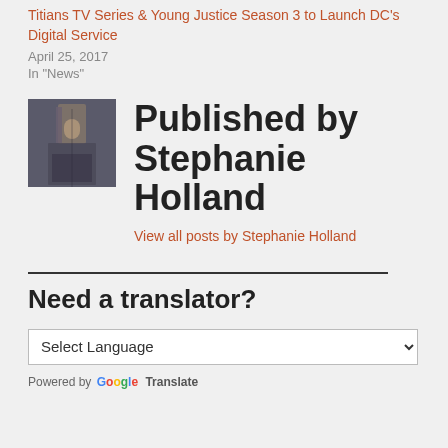Titians TV Series & Young Justice Season 3 to Launch DC's Digital Service
April 25, 2017
In "News"
[Figure (photo): Small thumbnail photo of a person near a door or booth, dark tones]
Published by Stephanie Holland
View all posts by Stephanie Holland
Need a translator?
Select Language
Powered by Google Translate